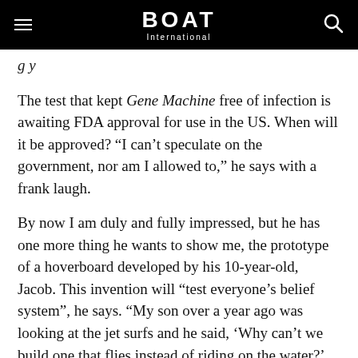BOAT International
The test that kept Gene Machine free of infection is awaiting FDA approval for use in the US. When will it be approved? “I can’t speculate on the government, nor am I allowed to,” he says with a frank laugh.
By now I am duly and fully impressed, but he has one more thing he wants to show me, the prototype of a hoverboard developed by his 10-year-old, Jacob. This invention will “test everyone’s belief system”, he says. “My son over a year ago was looking at the jet surfs and he said, ‘Why can’t we build one that flies instead of riding on the water?’ So he built a working prototype that would fly.” The next step was to make it fly with solar power. This invention led to the creation of yet another